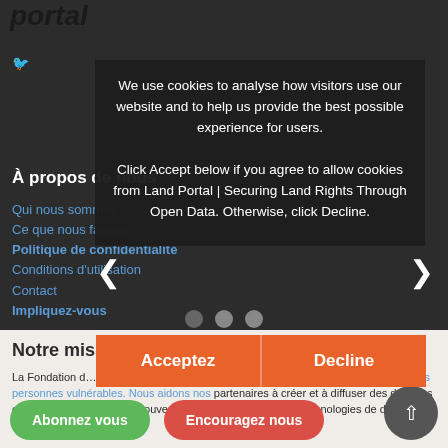portal
À propos de nous
Qui nous sommes
Ce que nous faisons
Politique de confidentialité
Conditions d'utilisation
Contact
Impliquez-vous
We use cookies to analyse how visitors use our website and to help us provide the best possible experience for users.

Click Accept below if you agree to allow cookies from Land Portal | Securing Land Rights Through Open Data. Otherwise, click Decline.
Notre mission
La Fondation d… indispensable pour parvenir à… pour garantir les droits fonciers des personnes vulnérables. Nous aidons nos partenaires à créer et à diffuser des données et des informations sur la gouvernance foncière à l'aide de technologies de données liées et ouvertes.
Abonnez vous
Encouragez nous